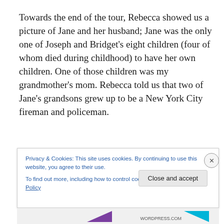Towards the end of the tour, Rebecca showed us a picture of Jane and her husband; Jane was the only one of Joseph and Bridget's eight children (four of whom died during childhood) to have her own children. One of those children was my grandmother's mom. Rebecca told us that two of Jane's grandsons grew up to be a New York City fireman and policeman.
Privacy & Cookies: This site uses cookies. By continuing to use this website, you agree to their use.
To find out more, including how to control cookies, see here: Cookie Policy